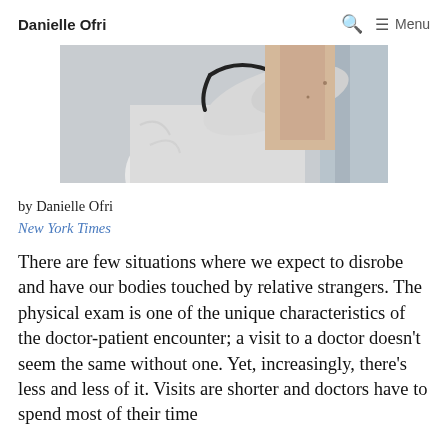Danielle Ofri   🔍  ☰ Menu
[Figure (photo): A doctor in a white coat using a stethoscope to examine a patient's back or chest]
by Danielle Ofri
New York Times
There are few situations where we expect to disrobe and have our bodies touched by relative strangers. The physical exam is one of the unique characteristics of the doctor-patient encounter; a visit to a doctor doesn't seem the same without one. Yet, increasingly, there's less and less of it. Visits are shorter and doctors have to spend most of their time